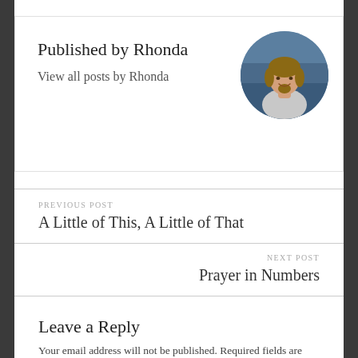Published by Rhonda
View all posts by Rhonda
[Figure (photo): Circular avatar photo of Rhonda, a woman smiling, with brown hair, wearing a grey top, photographed indoors with a blue background]
PREVIOUS POST
A Little of This, A Little of That
NEXT POST
Prayer in Numbers
Leave a Reply
Your email address will not be published. Required fields are